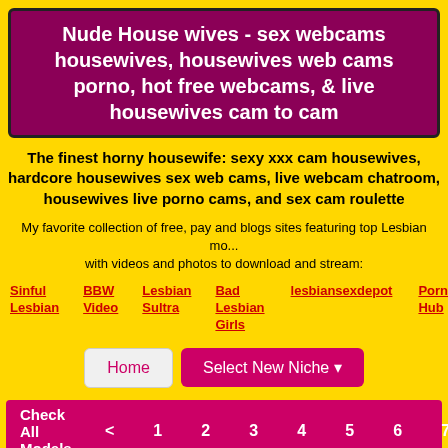Nude House wives - sex webcams housewives, housewives web cams porno, hot free webcams, & live housewives cam to cam
The finest horny housewife: sexy xxx cam housewives, hardcore housewives sex web cams, live webcam chatroom, housewives live porno cams, and sex cam roulette
My favorite collection of free, pay and blogs sites featuring top Lesbian mo... with videos and photos to download and stream:
Sinful Lesbian
BBW Video
Lesbian Sultra
Bad Lesbian Girls
lesbiansexdepot
Porn Hub
Les MIL...
Home | Select New Niche
Check All Models < 1 2 3 4 5 6 7